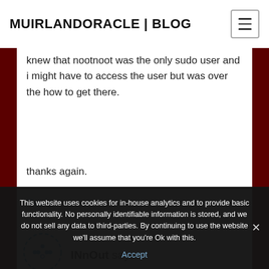MUIRLANDORACLE | BLOG
knew that nootnoot was the only sudo user and i might have to access the user but was over the how to get there.

thanks again.
Reply
[Figure (illustration): Circular avatar icon with dashed border and dot pattern, representing user INnOut]
INnOut says:
This website uses cookies for in-house analytics and to provide basic functionality. No personally identifiable information is stored, and we do not sell any data to third-parties. By continuing to use the website we'll assume that you're Ok with this.

Accept